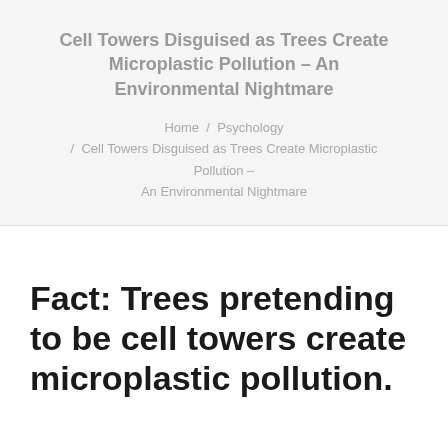Cell Towers Disguised as Trees Create Microplastic Pollution – An Environmental Nightmare
Home / Psychology / Cell Towers Disguised as Trees Create Microplastic Pollution – An Environmental Nightmare
Fact: Trees pretending to be cell towers create microplastic pollution.